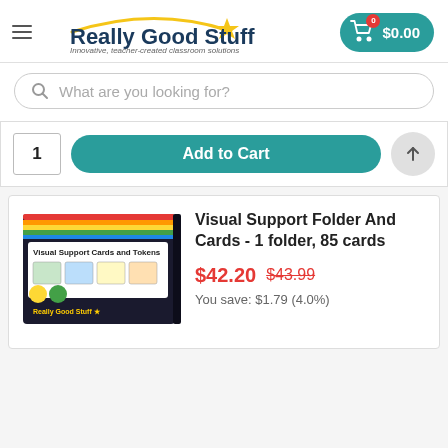[Figure (logo): Really Good Stuff logo with star and tagline 'Innovative, teacher-created classroom solutions']
[Figure (screenshot): Shopping cart button showing $0.00 in teal rounded button]
What are you looking for?
1  Add to Cart
[Figure (photo): Visual Support Cards and Tokens product box on black background with colorful cards]
Visual Support Folder And Cards - 1 folder, 85 cards
$42.20  $43.99
You save: $1.79 (4.0%)